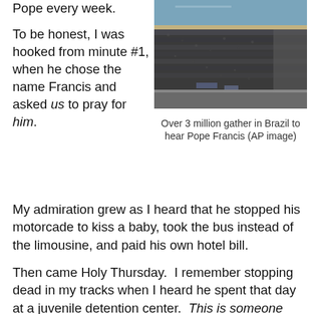Pope every week.
To be honest, I was hooked from minute #1, when he chose the name Francis and asked us to pray for him.
[Figure (photo): Aerial view of massive crowd of over 3 million people gathered on a beach in Brazil to hear Pope Francis]
Over 3 million gather in Brazil to hear Pope Francis (AP image)
My admiration grew as I heard that he stopped his motorcade to kiss a baby, took the bus instead of the limousine, and paid his own hotel bill.
Then came Holy Thursday.  I remember stopping dead in my tracks when I heard he spent that day at a juvenile detention center.  This is someone who is going to teach us by example, I kept saying to myself.
My admiration is now at an almost-fanatical stage as I read what he told millions of people in Brazil yesterday: